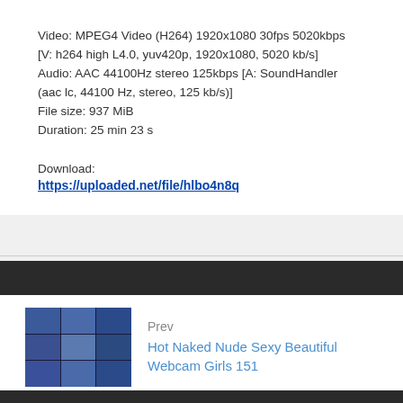Video: MPEG4 Video (H264) 1920x1080 30fps 5020kbps [V: h264 high L4.0, yuv420p, 1920x1080, 5020 kb/s] Audio: AAC 44100Hz stereo 125kbps [A: SoundHandler (aac lc, 44100 Hz, stereo, 125 kb/s)]
File size: 937 MiB
Duration: 25 min 23 s
Download:
https://uploaded.net/file/hlbo4n8q
Prev
Hot Naked Nude Sexy Beautiful Webcam Girls 151